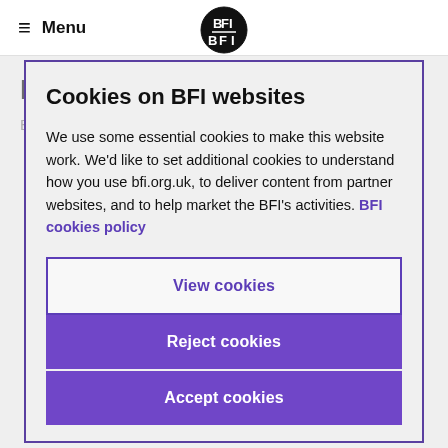Menu | BFI
Ingrid Bergman
By Pamela Hutchinson
Cookies on BFI websites
We use some essential cookies to make this website work. We'd like to set additional cookies to understand how you use bfi.org.uk, to deliver content from partner websites, and to help market the BFI's activities. BFI cookies policy
View cookies
Reject cookies
Accept cookies